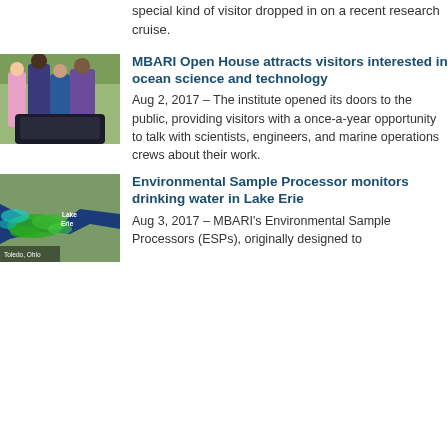special kind of visitor dropped in on a recent research cruise.
[Figure (photo): People at MBARI Open House event, showing visitors gathered around exhibits]
MBARI Open House attracts visitors interested in ocean science and technology
Aug 2, 2017 – The institute opened its doors to the public, providing visitors with a once-a-year opportunity to talk with scientists, engineers, and marine operations crews about their work.
[Figure (photo): Satellite or aerial image of Lake Erie near Toledo, Ohio showing algae bloom in green colors]
Environmental Sample Processor monitors drinking water in Lake Erie
Aug 3, 2017 – MBARI's Environmental Sample Processors (ESPs), originally designed to